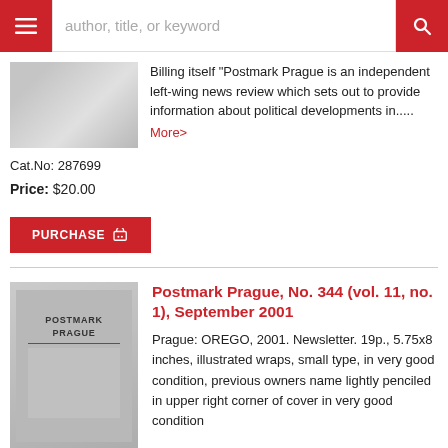author, title, or keyword
Billing itself "Postmark Prague is an independent left-wing news review which sets out to provide information about political developments in.....
More>
Cat.No: 287699
Price: $20.00
PURCHASE
Postmark Prague, No. 344 (vol. 11, no. 1), September 2001
Prague: OREGO, 2001. Newsletter. 19p., 5.75x8 inches, illustrated wraps, small type, in very good condition, previous owners name lightly penciled in upper right corner of cover in very good condition